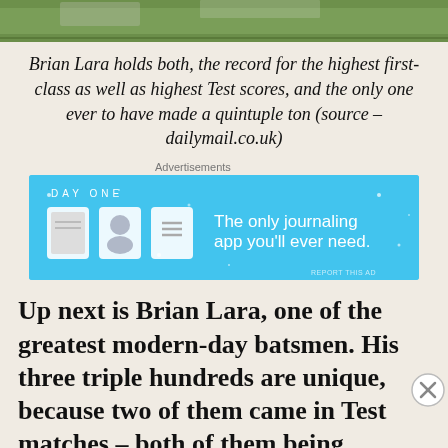[Figure (photo): Top strip showing a cricket field/stadium photo, partially cropped]
Brian Lara holds both, the record for the highest first-class as well as highest Test scores, and the only one ever to have made a quintuple ton (source – dailymail.co.uk)
[Figure (screenshot): Day One journaling app advertisement banner with blue background and app icons]
Up next is Brian Lara, one of the greatest modern-day batsmen. His three triple hundreds are unique, because two of them came in Test matches – both of them being
[Figure (screenshot): Pressable WordPress hosting advertisement banner]